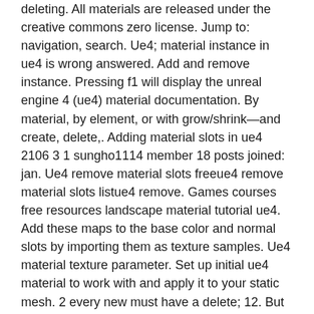deleting. All materials are released under the creative commons zero license. Jump to: navigation, search. Ue4; material instance in ue4 is wrong answered. Add and remove instance. Pressing f1 will display the unreal engine 4 (ue4) material documentation. By material, by element, or with grow/shrink—and create, delete,. Adding material slots in ue4 2106 3 1 sungho1114 member 18 posts joined: jan. Ue4 remove material slots freeue4 remove material slots listue4 remove. Games courses free resources landscape material tutorial ue4. Add these maps to the base color and normal slots by importing them as texture samples. Ue4 material texture parameter. Set up initial ue4 material to work with and apply it to your static mesh. 2 every new must have a delete; 12. But it can be handy to cleanup/edit material slots in engine. Add lod0 back in as the last lod · the unused materials will be sorted to the bottom of the